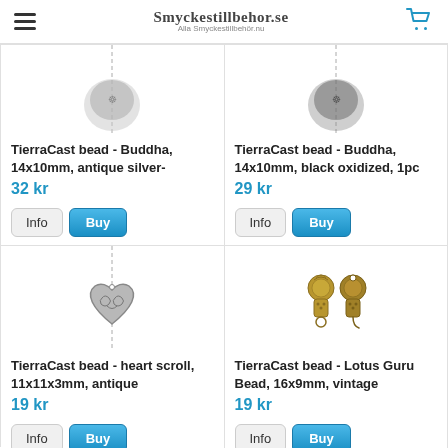Smyckestillbehor.se - Alla Smyckestillbehör.nu
[Figure (photo): TierraCast Buddha bead, antique silver, partial image at top]
TierraCast bead - Buddha, 14x10mm, antique silver-
32 kr
[Figure (photo): TierraCast Buddha bead, black oxidized, partial image at top]
TierraCast bead - Buddha, 14x10mm, black oxidized, 1pc
29 kr
[Figure (photo): TierraCast heart scroll bead, antique silver, 11x11x3mm]
TierraCast bead - heart scroll, 11x11x3mm, antique
19 kr
[Figure (photo): TierraCast Lotus Guru Bead, 16x9mm, vintage bronze, two beads shown]
TierraCast bead - Lotus Guru Bead, 16x9mm, vintage
19 kr